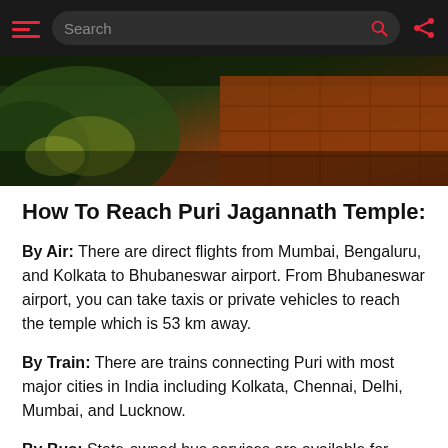Search
[Figure (photo): Hero image showing natural/temple scenery with green foliage on the left and reddish-brown stone steps or temple wall on the right against a dark background]
How To Reach Puri Jagannath Temple:
By Air: There are direct flights from Mumbai, Bengaluru, and Kolkata to Bhubaneswar airport. From Bhubaneswar airport, you can take taxis or private vehicles to reach the temple which is 53 km away.
By Train: There are trains connecting Puri with most major cities in India including Kolkata, Chennai, Delhi, Mumbai, and Lucknow.
By Bus: State-owned bus services are available for travel within Orissa state including Bhubaneswar city as well as Puri town itself where you can board buses bound for the